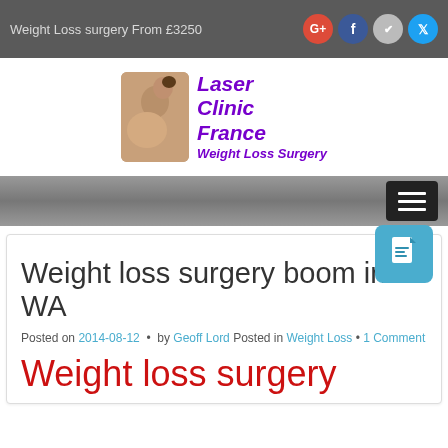Weight Loss surgery From £3250
[Figure (logo): Laser Clinic France Weight Loss Surgery logo with person silhouette]
[Figure (screenshot): Navigation bar with hamburger menu button]
Weight loss surgery boom in WA
Posted on 2014-08-12 • by Geoff Lord Posted in Weight Loss • 1 Comment
Weight loss surgery